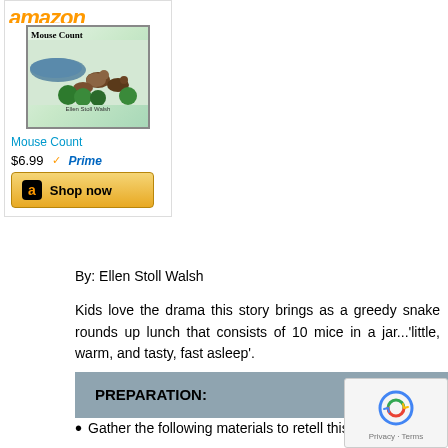[Figure (screenshot): Amazon product widget showing the book 'Mouse Count' with cover image, price $6.99, Prime badge, and 'Shop now' button]
Mouse Count
$6.99  ✓Prime
By: Ellen Stoll Walsh
Kids love the drama this story brings as a greedy snake rounds up lunch that consists of 10 mice in a jar...'little, warm, and tasty, fast asleep'.
PREPARATION:
Gather the following materials to retell this story: a